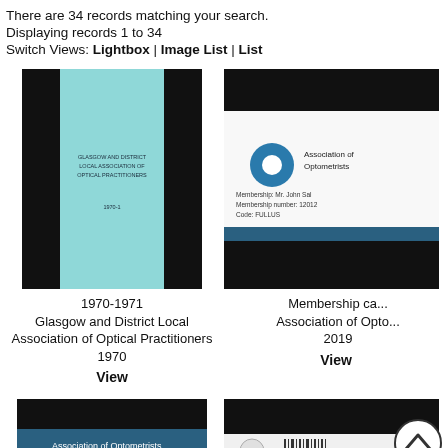There are 34 records matching your search.
Displaying records 1 to 34
Switch Views: Lightbox | Image List | List
[Figure (photo): Thumbnail of a light blue booklet cover for Glasgow and District Local Association of Optical Practitioners 1970-1971]
1970-1971
Glasgow and District Local Association of Optical Practitioners
1970
View
[Figure (photo): Thumbnail of an Association of Optometrists membership card showing logo, member name Mr. John Sal, membership number 12012, code FULLUS]
Membership ca...
Association of Opto...
2019
View
[Figure (photo): Bottom thumbnail showing Association of Optometrists document (cropped)]
[Figure (photo): Bottom right thumbnail showing AOP logo and barcode (cropped), with scroll-up button overlay]